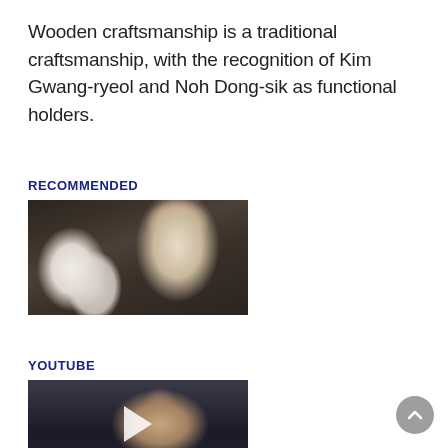Wooden craftsmanship is a traditional craftsmanship, with the recognition of Kim Gwang-ryeol and Noh Dong-sik as functional holders.
RECOMMENDED
[Figure (photo): A craftsman working with wood or mushroom-like white ceramic pieces stacked on the left, man in white shirt working at a table]
YOUTUBE
[Figure (screenshot): YouTube video thumbnail showing a man's face in a dark interior setting with a play button overlay]